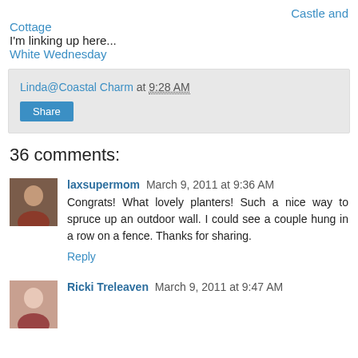Castle and Cottage
I'm linking up here...
White Wednesday
Linda@Coastal Charm at 9:28 AM
Share
36 comments:
laxsupermom March 9, 2011 at 9:36 AM
Congrats! What lovely planters! Such a nice way to spruce up an outdoor wall. I could see a couple hung in a row on a fence. Thanks for sharing.
Reply
Ricki Treleaven March 9, 2011 at 9:47 AM